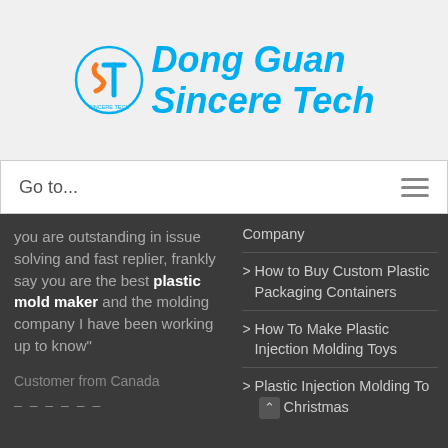[Figure (logo): Dong Guan Sincere Tech company logo with circular ST emblem in orange/blue and blue italic text]
Go to...
you are outstanding in issue solving and fast replier, frankly say you are the best plastic mold maker and the molding company I have been working up to know"
Customer from Canada
– – – – – –
Company
> How to Buy Custom Plastic Packaging Containers
> How To Make Plastic Injection Molding Toys
> Plastic Injection Molding Toys Christmas